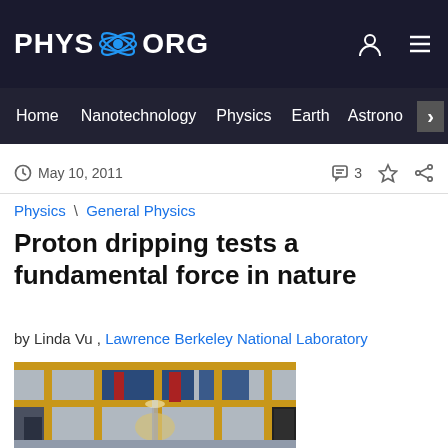PHYS.ORG
Home | Nanotechnology | Physics | Earth | Astronomy
May 10, 2011  |  3 comments
Physics \ General Physics
Proton dripping tests a fundamental force in nature
by Linda Vu , Lawrence Berkeley National Laboratory
[Figure (photo): Laboratory interior showing large multi-story experimental equipment with yellow scaffolding, metal framework, pipes, and scientific instruments inside a research facility.]